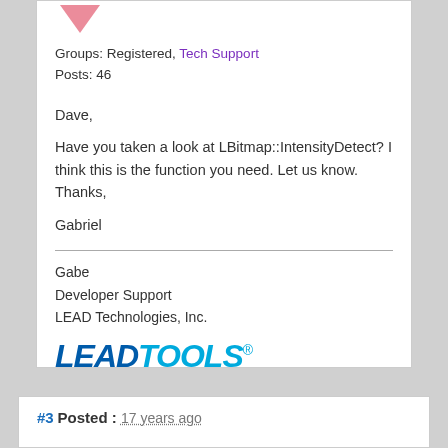[Figure (logo): Pink/red downward arrow icon (avatar image, partially visible at top)]
Groups: Registered, Tech Support
Posts: 46
Dave,

Have you taken a look at LBitmap::IntensityDetect? I think this is the function you need. Let us know. Thanks,

Gabriel
Gabe
Developer Support
LEAD Technologies, Inc.
[Figure (logo): LEADTOOLS logo - THE WORLD LEADER IN IMAGING SDKs]
#3 Posted : 17 years ago